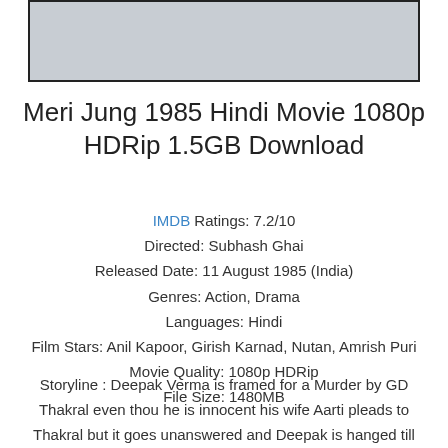[Figure (photo): Gray placeholder image box with dark border at top of page]
Meri Jung 1985 Hindi Movie 1080p HDRip 1.5GB Download
IMDB Ratings: 7.2/10
Directed: Subhash Ghai
Released Date: 11 August 1985 (India)
Genres: Action, Drama
Languages: Hindi
Film Stars: Anil Kapoor, Girish Karnad, Nutan, Amrish Puri
Movie Quality: 1080p HDRip
File Size: 1480MB
Storyline : Deepak Verma is framed for a Murder by GD Thakral even thou he is innocent his wife Aarti pleads to Thakral but it goes unanswered and Deepak is hanged till death,Aarti disappears after the incident her children Arun and Komal believe she is dead they both become homeless,Arun starts doing odd jobs and becomes a famous lawyer in the city